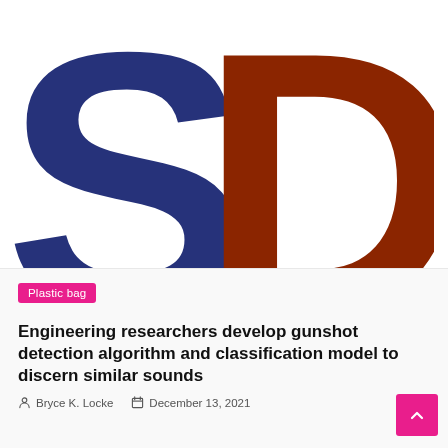[Figure (logo): Large 'SD' logo — 'S' in dark navy blue and 'D' in dark reddish-brown, partial view cropped at top]
Plastic bag
Engineering researchers develop gunshot detection algorithm and classification model to discern similar sounds
Bryce K. Locke   December 13, 2021